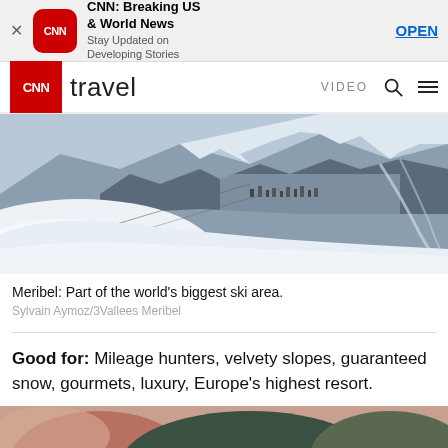[Figure (screenshot): App store banner for CNN Breaking US & World News with CNN logo, title, subtitle 'Stay Updated on Developing Stories', and OPEN button]
[Figure (screenshot): CNN Travel navigation bar with CNN logo in red, 'travel' text, VIDEO, search, and hamburger menu icons]
[Figure (photo): Aerial winter ski resort photo showing snowy slopes with a ski town visible in the background amid snow-covered mountains - Meribel ski resort]
Meribel: Part of the world's biggest ski area.
Sylvain Aymoz/3Vallees Meribel
Good for: Mileage hunters, velvety slopes, guaranteed snow, gourmets, luxury, Europe's highest resort.
[Figure (photo): Close-up photo of winter gear or ski accessories, partially visible at bottom of page]